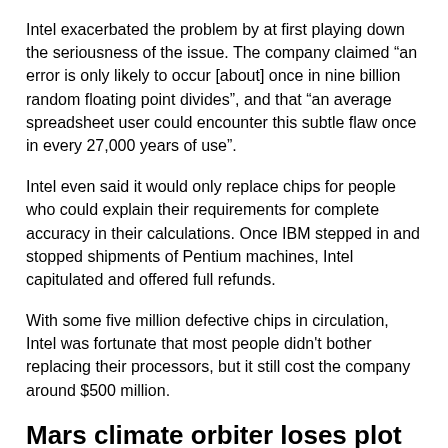Intel exacerbated the problem by at first playing down the seriousness of the issue. The company claimed “an error is only likely to occur [about] once in nine billion random floating point divides”, and that “an average spreadsheet user could encounter this subtle flaw once in every 27,000 years of use”.
Intel even said it would only replace chips for people who could explain their requirements for complete accuracy in their calculations. Once IBM stepped in and stopped shipments of Pentium machines, Intel capitulated and offered full refunds.
With some five million defective chips in circulation, Intel was fortunate that most people didn't bother replacing their processors, but it still cost the company around $500 million.
Mars climate orbiter loses plot
Minor mistakes can prove costly on a space mission – in this case, $327 million of your Earth money.
All appeared to be fine when the Mars Climate Orbiter approached the red planet on a mission to collect weather data,